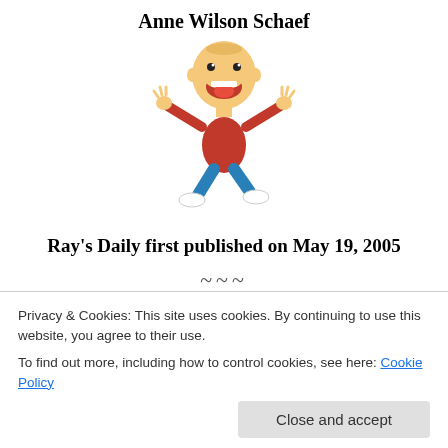Anne Wilson Schaef
[Figure (illustration): Cartoon of a happy jumping character with arms outstretched, wearing a red shirt and blue pants, with a big open-mouthed smile]
Ray's Daily first published on May 19, 2005
~~~
Ain't that the truth. I just realized that over the past few weeks I have gotten awfully solemn in the daily. After rereading some of the stuff I got to worrying that I might be
Privacy & Cookies: This site uses cookies. By continuing to use this website, you agree to their use.
To find out more, including how to control cookies, see here: Cookie Policy